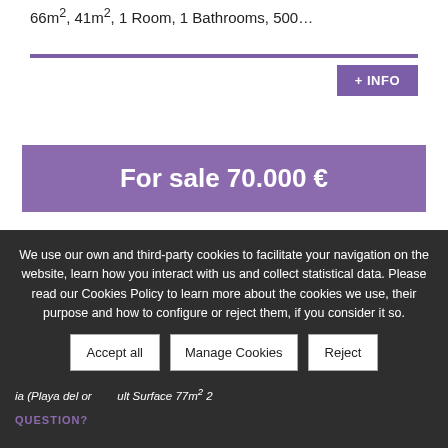66m², 41m², 1 Room, 1 Bathrooms, 500…
+ INFO
For sale 70.000 €
We use our own and third-party cookies to facilitate your navigation on the website, learn how you interact with us and collect statistical data. Please read our Cookies Policy to learn more about the cookies we use, their purpose and how to configure or reject them, if you consider it so.
ia (Playa del or ult Surface 77m² 2
QUESTION?
Accept all
Manage Cookies
Reject